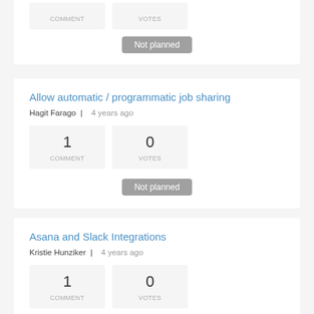[Figure (other): Partial top card showing COMMENT and VOTES stat boxes (cropped from top)]
Not planned
Allow automatic / programmatic job sharing
Hagit Farago  |  4 years ago
[Figure (other): Stats boxes: 1 COMMENT, 0 VOTES]
Not planned
Asana and Slack Integrations
Kristie Hunziker  |  4 years ago
[Figure (other): Stats boxes: 1 COMMENT, 0 VOTES]